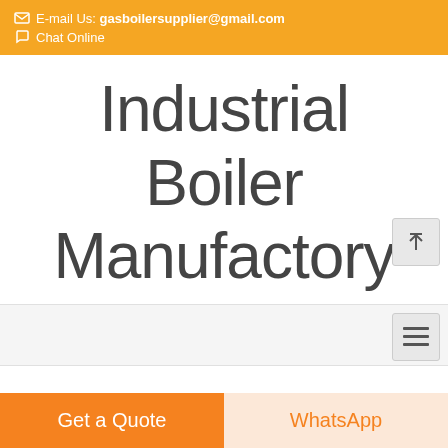E-mail Us: gasboilersupplier@gmail.com
Chat Online
Industrial Boiler Manufactory
…ment price St…
Get a Quote
WhatsApp